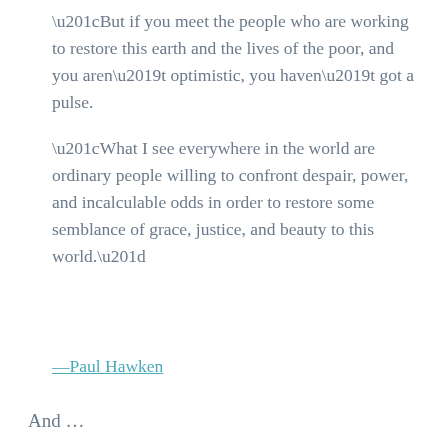“But if you meet the people who are working to restore this earth and the lives of the poor, and you aren’t optimistic, you haven’t got a pulse.
“What I see everywhere in the world are ordinary people willing to confront despair, power, and incalculable odds in order to restore some semblance of grace, justice, and beauty to this world.”
—Paul Hawken
And …